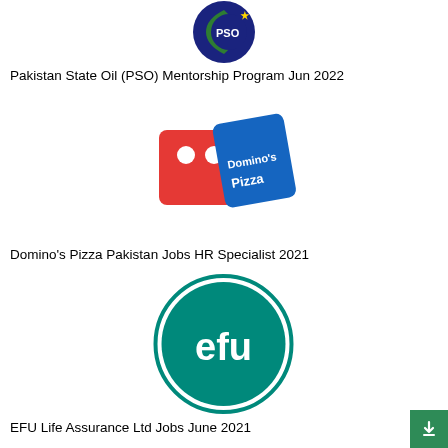[Figure (logo): Pakistan State Oil (PSO) logo - circular logo with green crescent and blue background with star]
Pakistan State Oil (PSO) Mentorship Program Jun 2022
[Figure (logo): Domino's Pizza logo - red domino tile with two white dots and blue diagonal banner with text "Domino's Pizza"]
Domino's Pizza Pakistan Jobs HR Specialist 2021
[Figure (logo): EFU Life Assurance logo - teal circle with white "efu" text]
EFU Life Assurance Ltd Jobs June 2021